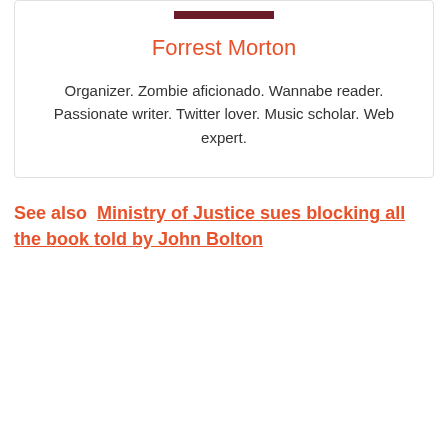[Figure (photo): Partial image of Forrest Morton at the top of the card]
Forrest Morton
Organizer. Zombie aficionado. Wannabe reader. Passionate writer. Twitter lover. Music scholar. Web expert.
See also  Ministry of Justice sues blocking all the book told by John Bolton